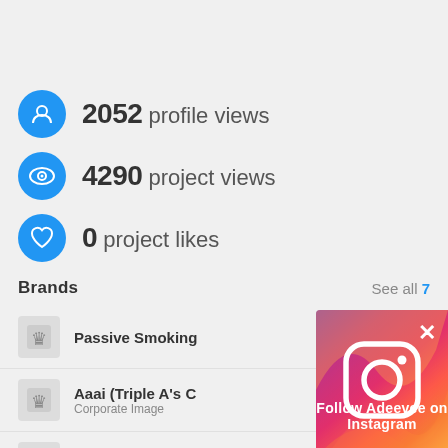2052 profile views
4290 project views
0 project likes
Brands
See all 7
Passive Smoking
Aaai (Triple A's C), Corporate Image
Jet Airways, Travel, Transport &
Sanctuary Asia, Public Awareness
Cancer Patients, Alternative Media
[Figure (infographic): Instagram follow popup overlay with gradient background (purple to orange), Instagram camera logo in white, close X button, and text 'Follow Adeevee on Instagram']